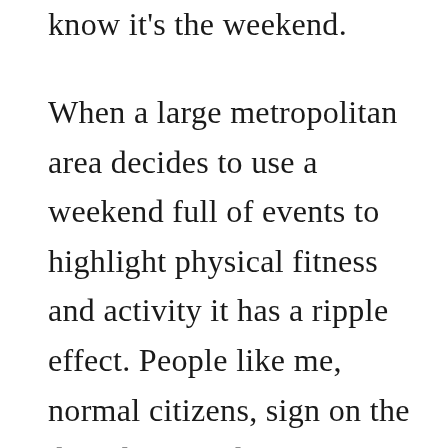know it's the weekend.
When a large metropolitan area decides to use a weekend full of events to highlight physical fitness and activity it has a ripple effect. People like me, normal citizens, sign on the dotted line and commit to participation. We talk to family